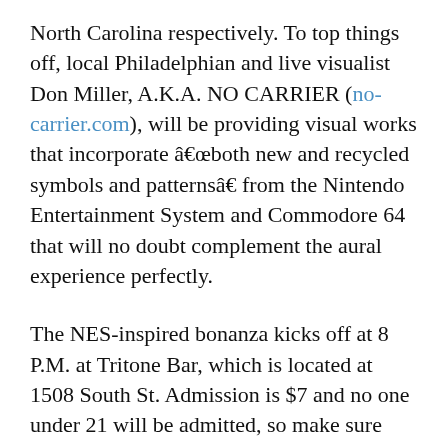North Carolina respectively. To top things off, local Philadelphian and live visualist Don Miller, A.K.A. NO CARRIER (no-carrier.com), will be providing visual works that incorporate â€œboth new and recycled symbols and patternsâ€  from the Nintendo Entertainment System and Commodore 64 that will no doubt complement the aural experience perfectly.
The NES-inspired bonanza kicks off at 8 P.M. at Tritone Bar, which is located at 1508 South St. Admission is $7 and no one under 21 will be admitted, so make sure you have your I.D. handy. If you do come, be sure to single me out â€˜cause someone has to buy my drinks!
Until then, hop over to the artistsâ€™ respective websites, preview their music, and maybe leave...